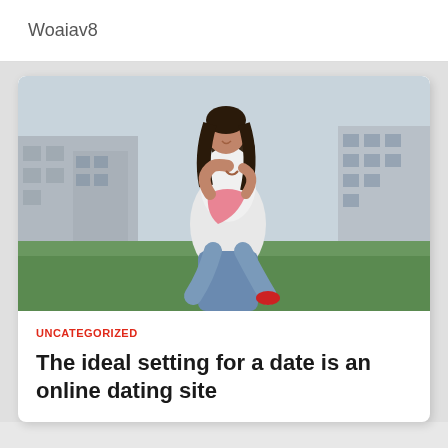Woaiav8
[Figure (photo): A couple outdoors — a woman riding piggyback on a man's back, both smiling, with buildings and green grass in the background. The woman wears a pink scarf and the man wears a white t-shirt.]
UNCATEGORIZED
The ideal setting for a date is an online dating site